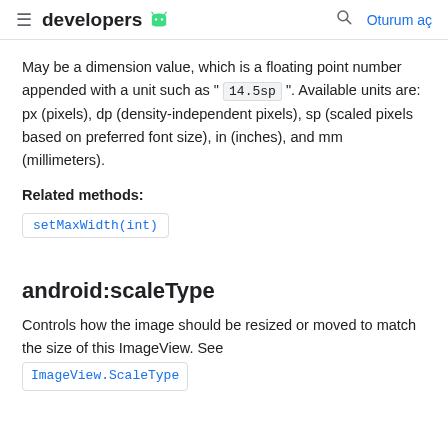developers [android logo] | [search] Oturum aç
May be a dimension value, which is a floating point number appended with a unit such as "14.5sp". Available units are: px (pixels), dp (density-independent pixels), sp (scaled pixels based on preferred font size), in (inches), and mm (millimeters).
Related methods:
setMaxWidth(int)
android:scaleType
Controls how the image should be resized or moved to match the size of this ImageView. See ImageView.ScaleType